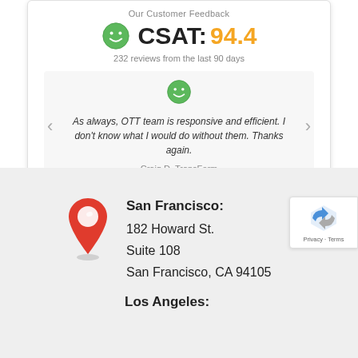Our Customer Feedback
CSAT: 94.4
232 reviews from the last 90 days
As always, OTT team is responsive and efficient. I don't know what I would do without them. Thanks again.
Craig D, TransForm
San Francisco:
182 Howard St.
Suite 108
San Francisco, CA 94105
Los Angeles: